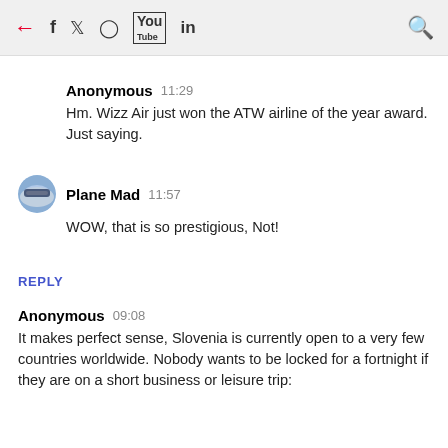← f 🐦 📷 ▶ in 🔍
Anonymous  11:29
Hm. Wizz Air just won the ATW airline of the year award. Just saying.
Plane Mad  11:57
WOW, that is so prestigious, Not!
REPLY
Anonymous  09:08
It makes perfect sense, Slovenia is currently open to a very few countries worldwide. Nobody wants to be locked for a fortnight if they are on a short business or leisure trip: